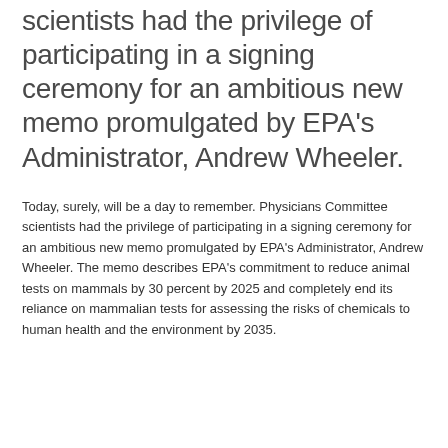scientists had the privilege of participating in a signing ceremony for an ambitious new memo promulgated by EPA's Administrator, Andrew Wheeler.
Today, surely, will be a day to remember. Physicians Committee scientists had the privilege of participating in a signing ceremony for an ambitious new memo promulgated by EPA's Administrator, Andrew Wheeler. The memo describes EPA's commitment to reduce animal tests on mammals by 30 percent by 2025 and completely end its reliance on mammalian tests for assessing the risks of chemicals to human health and the environment by 2035.